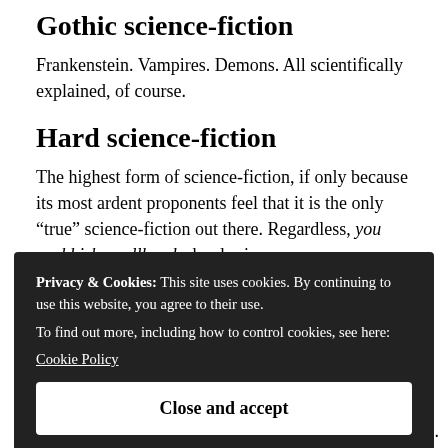Gothic science-fiction
Frankenstein. Vampires. Demons. All scientifically explained, of course.
Hard science-fiction
The highest form of science-fiction, if only because its most ardent proponents feel that it is the only “true” science-fiction out there. Regardless, you snobbish swellheads, hard science-
Privacy & Cookies: This site uses cookies. By continuing to use this website, you agree to their use.
To find out more, including how to control cookies, see here:
Cookie Policy
Close and accept
Might be mind-blowingly ingenious. Proceed with care.